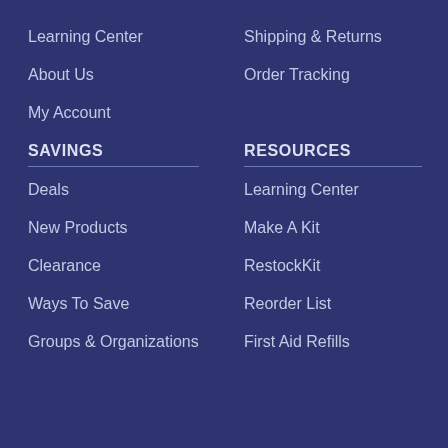Learning Center
Shipping & Returns
About Us
Order Tracking
My Account
SAVINGS
RESOURCES
Deals
Learning Center
New Products
Make A Kit
Clearance
RestockKit
Ways To Save
Reorder List
Groups & Organizations
First Aid Refills